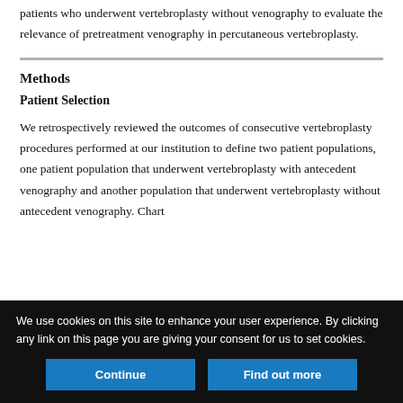patients who underwent vertebroplasty without venography to evaluate the relevance of pretreatment venography in percutaneous vertebroplasty.
Methods
Patient Selection
We retrospectively reviewed the outcomes of consecutive vertebroplasty procedures performed at our institution to define two patient populations, one patient population that underwent vertebroplasty with antecedent venography and another population that underwent vertebroplasty without antecedent venography. Chart
We use cookies on this site to enhance your user experience. By clicking any link on this page you are giving your consent for us to set cookies.